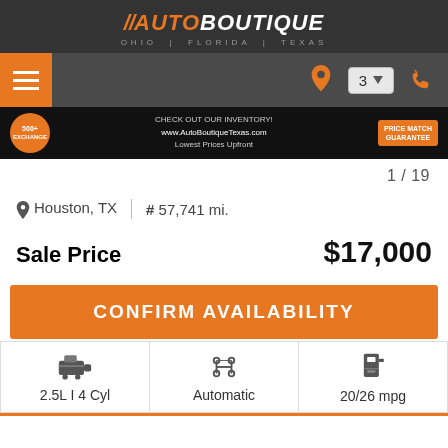[Figure (logo): Auto Boutique logo with slashes, Ohio | Florida | Texas subtitle]
[Figure (screenshot): Navigation bar with hamburger menu, location pin, location dropdown showing 3, and phone icon]
[Figure (screenshot): Banner with 500 exchange badge, Check Out Our Inventory www.AutoBoutiqueTexas.com Lowest Prices Upfront, and Price Match Guarantee badge]
1 / 19
Houston, TX  |  # 57,741 mi.
Sale Price  $17,000
CONFIRM AVAILABILITY
| Engine | Transmission | Fuel Economy |
| --- | --- | --- |
| 2.5L I 4 Cyl | Automatic | 20/26 mpg |